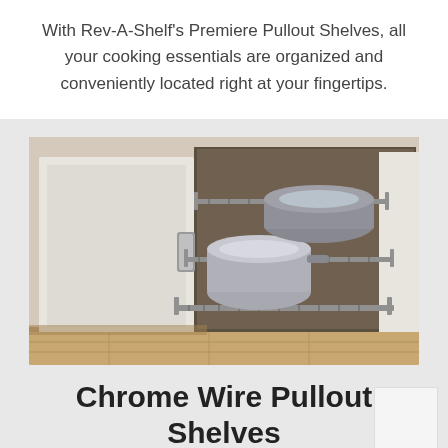With Rev-A-Shelf's Premiere Pullout Shelves, all your cooking essentials are organized and conveniently located right at your fingertips.
[Figure (photo): Photo of an open kitchen base cabinet showing chrome wire pullout shelves extended outward with pots, pans, and cookware on the shelves. The cabinet has white doors and wood flooring visible below.]
Chrome Wire Pullout Shelves
$49.95 - $226.79